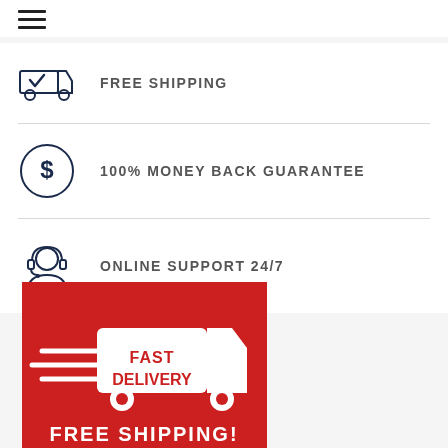[Figure (infographic): Hamburger menu icon (three horizontal lines)]
[Figure (infographic): Delivery truck icon with checkmark]
FREE SHIPPING
[Figure (infographic): Dollar sign in circle icon]
100% MONEY BACK GUARANTEE
[Figure (infographic): Headset/support person icon]
ONLINE SUPPORT 24/7
[Figure (infographic): Red banner with white fast delivery truck graphic and 'FAST DELIVERY' text, with 'FREE SHIPPING!' text at bottom]